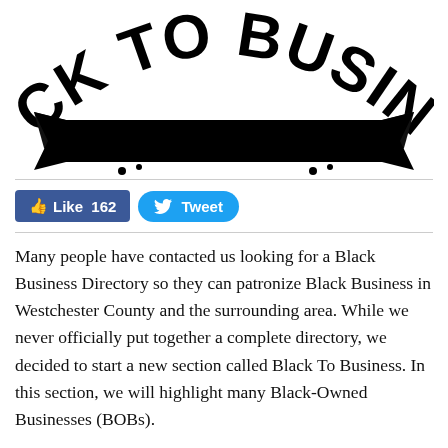[Figure (logo): Black To Business logo — large bold text 'BLACK TO BUSINESS' arched over a black ribbon/banner graphic]
[Figure (infographic): Social sharing buttons: Facebook Like button showing 162 likes, and a Twitter Tweet button]
Many people have contacted us looking for a Black Business Directory so they can patronize Black Business in Westchester County and the surrounding area. While we never officially put together a complete directory, we decided to start a new section called Black To Business. In this section, we will highlight many Black-Owned Businesses (BOBs).
While it was impossible to list every local Black-Owned Business (BOB) in our small Black Business edition of the newspaper, we reached out to the staff and several supporters and readers to let us know their favorite